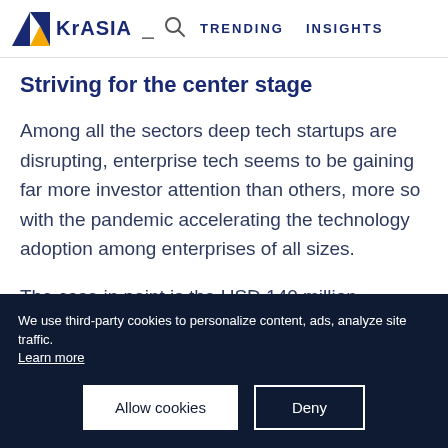KrASIA  TRENDING  INSIGHTS
Striving for the center stage
Among all the sectors deep tech startups are disrupting, enterprise tech seems to be gaining far more investor attention than others, more so with the pandemic accelerating the technology adoption among enterprises of all sizes.
The case in point is the USD 140 million
We use third-party cookies to personalize content, ads, analyze site traffic. Learn more
Allow cookies    Deny